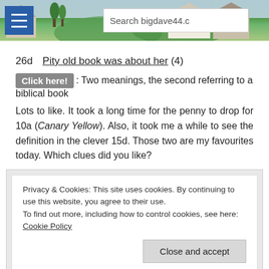[Figure (screenshot): Website header banner with landscape photo, hamburger menu button, and search box showing 'Search bigdave44.c']
26d   Pity old book was about her (4)
Click here!: Two meanings, the second referring to a biblical book
Lots to like. It took a long time for the penny to drop for 10a (Canary Yellow). Also, it took me a while to see the definition in the clever 15d. Those two are my favourites today. Which clues did you like?
Privacy & Cookies: This site uses cookies. By continuing to use this website, you agree to their use.
To find out more, including how to control cookies, see here: Cookie Policy
Close and accept
[Figure (screenshot): Dark banner ad: 'Launch your online course with WordPress']